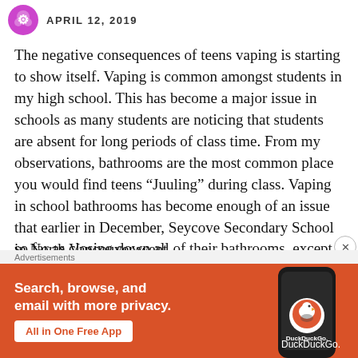APRIL 12, 2019
The negative consequences of teens vaping is starting to show itself. Vaping is common amongst students in my high school. This has become a major issue in schools as many students are noticing that students are absent for long periods of class time. From my observations, bathrooms are the most common place you would find teens “Juuling” during class. Vaping in school bathrooms has become enough of an issue that earlier in December, Seycove Secondary School in North Vancouver went so far as closing down all of their bathrooms, except
[Figure (screenshot): DuckDuckGo advertisement banner with orange background. Text: 'Search, browse, and email with more privacy. All in One Free App'. Shows a smartphone and the DuckDuckGo logo.]